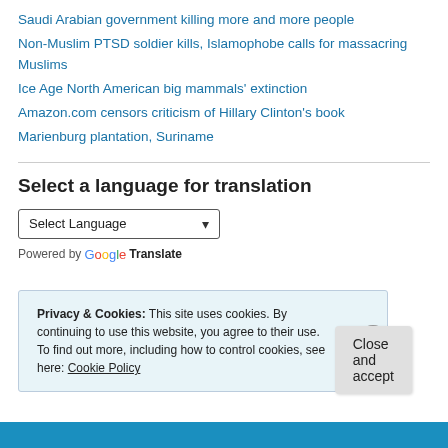Saudi Arabian government killing more and more people
Non-Muslim PTSD soldier kills, Islamophobe calls for massacring Muslims
Ice Age North American big mammals' extinction
Amazon.com censors criticism of Hillary Clinton's book
Marienburg plantation, Suriname
Select a language for translation
Select Language [dropdown] Powered by Google Translate
Privacy & Cookies: This site uses cookies. By continuing to use this website, you agree to their use. To find out more, including how to control cookies, see here: Cookie Policy
Close and accept